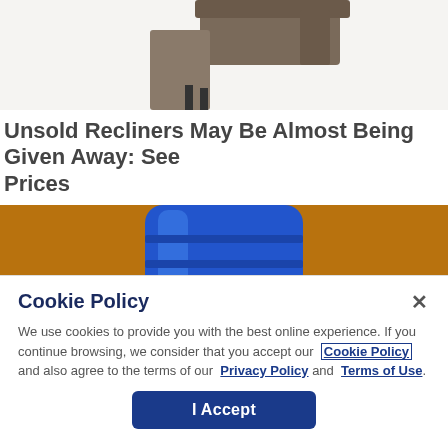[Figure (photo): Partial view of a recliner chair, cropped at the top of the page]
Unsold Recliners May Be Almost Being Given Away: See Prices
Unsold Recliners
[Figure (photo): Close-up photo of a blue plastic bottle/container on a brown/wood background]
Cookie Policy
We use cookies to provide you with the best online experience. If you continue browsing, we consider that you accept our Cookie Policy and also agree to the terms of our Privacy Policy and Terms of Use.
I Accept